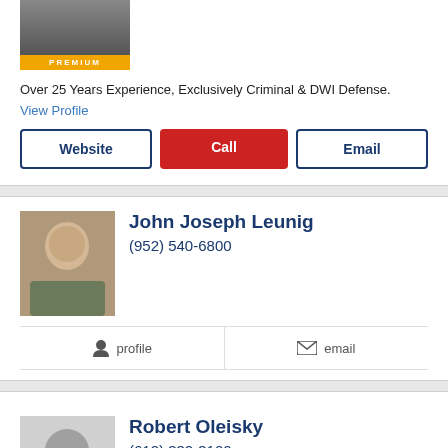[Figure (photo): Lawyer profile photo with PREMIUM badge overlay]
Over 25 Years Experience, Exclusively Criminal & DWI Defense.
View Profile
Website | Call | Email (buttons)
[Figure (photo): Photo of John Joseph Leunig]
John Joseph Leunig
(952) 540-6800
profile   email
[Figure (photo): Placeholder silhouette photo for Robert Oleisky]
Robert Oleisky
(612) 332-3100